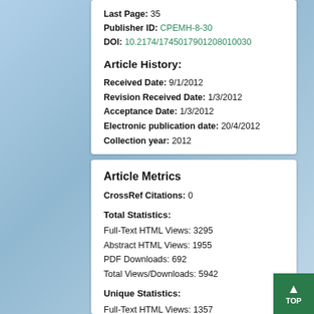First Page: 30
Last Page: 35
Publisher ID: CPEMH-8-30
DOI: 10.2174/1745017901208010030
Article History:
Received Date: 9/1/2012
Revision Received Date: 1/3/2012
Acceptance Date: 1/3/2012
Electronic publication date: 20/4/2012
Collection year: 2012
Article Metrics
CrossRef Citations: 0
Total Statistics:
Full-Text HTML Views: 3295
Abstract HTML Views: 1955
PDF Downloads: 692
Total Views/Downloads: 5942
Unique Statistics:
Full-Text HTML Views: 1357
Abstract HTML Views: 970
PDF Downloads: 453